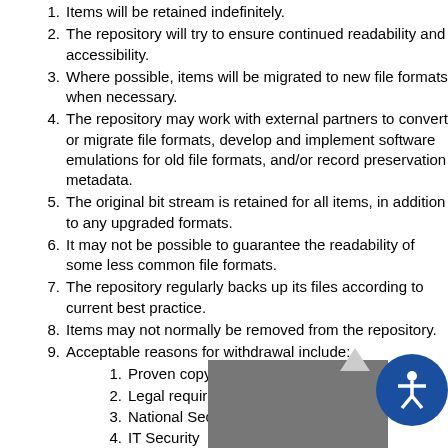1. Items will be retained indefinitely.
2. The repository will try to ensure continued readability and accessibility.
3. Where possible, items will be migrated to new file formats when necessary.
4. The repository may work with external partners to convert or migrate file formats, develop and implement software emulations for old file formats, and/or record preservation metadata.
5. The original bit stream is retained for all items, in addition to any upgraded formats.
6. It may not be possible to guarantee the readability of some less common file formats.
7. The repository regularly backs up its files according to current best practice.
8. Items may not normally be removed from the repository.
9. Acceptable reasons for withdrawal include:
1. Proven copyright violation or plagiarism
2. Legal requirements and proven violation
3. National Security
4. IT Security